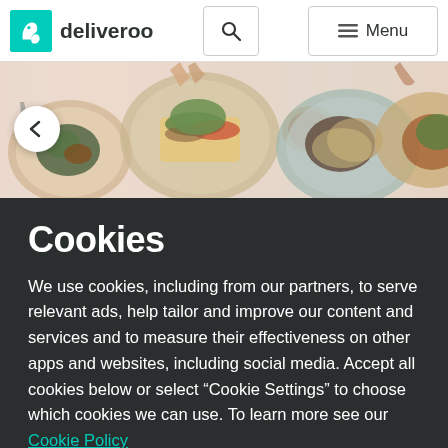deliveroo | Search | Menu
[Figure (photo): Hero banner showing overhead view of multiple food dishes on plates on a table, with hands reaching in. A white circular back button with left arrow is overlaid on the left side.]
Cookies
We use cookies, including from our partners, to serve relevant ads, help tailor and improve our content and services and to measure their effectiveness on other apps and websites, including social media. Accept all cookies below or select “Cookie Settings” to choose which cookies we can use. To learn more see our Cookie Policy
Cookie Settings  Accept All Cookies